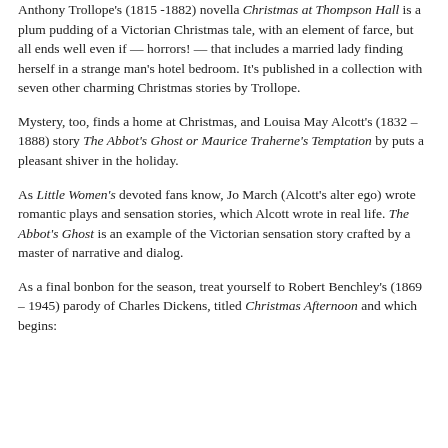Anthony Trollope's (1815 -1882) novella Christmas at Thompson Hall is a plum pudding of a Victorian Christmas tale, with an element of farce, but all ends well even if — horrors! — that includes a married lady finding herself in a strange man's hotel bedroom. It's published in a collection with seven other charming Christmas stories by Trollope.
Mystery, too, finds a home at Christmas, and Louisa May Alcott's (1832 – 1888) story The Abbot's Ghost or Maurice Traherne's Temptation by puts a pleasant shiver in the holiday.
As Little Women's devoted fans know, Jo March (Alcott's alter ego) wrote romantic plays and sensation stories, which Alcott wrote in real life. The Abbot's Ghost is an example of the Victorian sensation story crafted by a master of narrative and dialog.
As a final bonbon for the season, treat yourself to Robert Benchley's (1869 – 1945) parody of Charles Dickens, titled Christmas Afternoon and which begins: